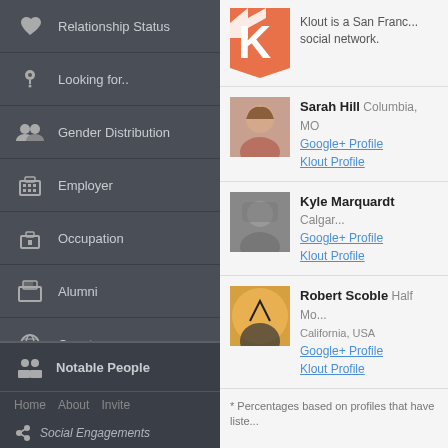Relationship Status
Looking for..
Gender Distribution
Employer
Occupation
Alumni
Country
State
City
World View
Notable People
Home   About   Invite
Social Engagements
[Figure (logo): Klout logo - orange K with arrow on dark pennant background]
Klout is a San Francisco-based social network.
Sarah Hill Columbia, MO
Google+ Profile
Klout Profile
Kyle Marquardt Calgary
Google+ Profile
Klout Profile
Robert Scoble Half Moon Bay, California, USA
Google+ Profile
Klout Profile
* Percentages based on profiles that have listed